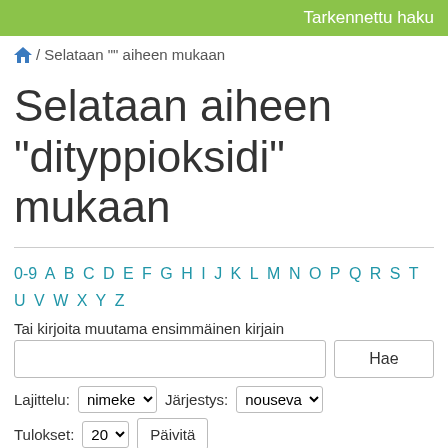Tarkennettu haku
/ Selataan "" aiheen mukaan
Selataan aiheen "dityppioksidi" mukaan
0-9 A B C D E F G H I J K L M N O P Q R S T U V W X Y Z
Tai kirjoita muutama ensimmäinen kirjain
Hae
Lajittelu: nimeke   Järjestys: nouseva
Tulokset: 20   Päivitä